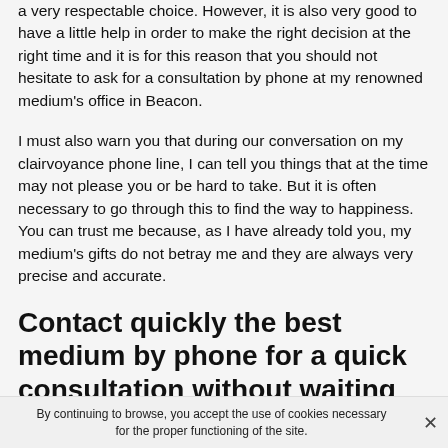a very respectable choice. However, it is also very good to have a little help in order to make the right decision at the right time and it is for this reason that you should not hesitate to ask for a consultation by phone at my renowned medium's office in Beacon.
I must also warn you that during our conversation on my clairvoyance phone line, I can tell you things that at the time may not please you or be hard to take. But it is often necessary to go through this to find the way to happiness. You can trust me because, as I have already told you, my medium's gifts do not betray me and they are always very precise and accurate.
Contact quickly the best medium by phone for a quick consultation without waiting
By continuing to browse, you accept the use of cookies necessary for the proper functioning of the site.